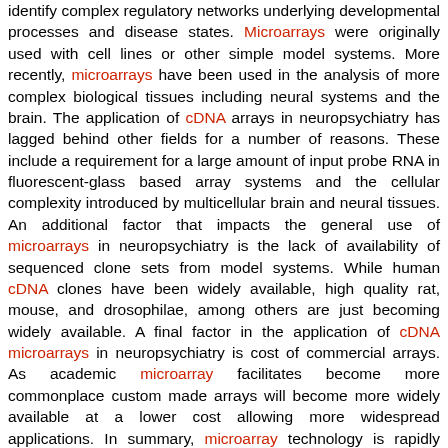identify complex regulatory networks underlying developmental processes and disease states. Microarrays were originally used with cell lines or other simple model systems. More recently, microarrays have been used in the analysis of more complex biological tissues including neural systems and the brain. The application of cDNA arrays in neuropsychiatry has lagged behind other fields for a number of reasons. These include a requirement for a large amount of input probe RNA in fluorescent-glass based array systems and the cellular complexity introduced by multicellular brain and neural tissues. An additional factor that impacts the general use of microarrays in neuropsychiatry is the lack of availability of sequenced clone sets from model systems. While human cDNA clones have been widely available, high quality rat, mouse, and drosophilae, among others are just becoming widely available. A final factor in the application of cDNA microarrays in neuropsychiatry is cost of commercial arrays. As academic microarray facilitates become more commonplace custom made arrays will become more widely available at a lower cost allowing more widespread applications. In summary, microarray technology is rapidly having an impact on many areas of biomedical research. Radioisotope-nylon based microarrays offer alternatives that may in some cases be more sensitive, flexible, inexpensive, and